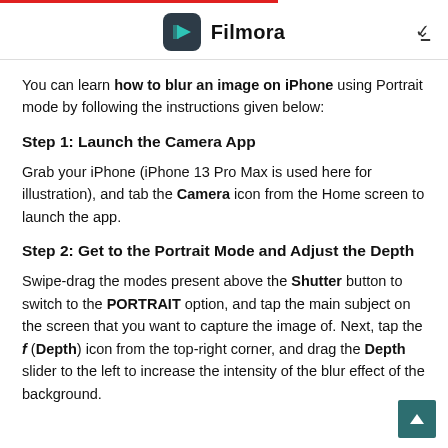Filmora
You can learn how to blur an image on iPhone using Portrait mode by following the instructions given below:
Step 1: Launch the Camera App
Grab your iPhone (iPhone 13 Pro Max is used here for illustration), and tab the Camera icon from the Home screen to launch the app.
Step 2: Get to the Portrait Mode and Adjust the Depth
Swipe-drag the modes present above the Shutter button to switch to the PORTRAIT option, and tap the main subject on the screen that you want to capture the image of. Next, tap the f (Depth) icon from the top-right corner, and drag the Depth slider to the left to increase the intensity of the blur effect of the background.